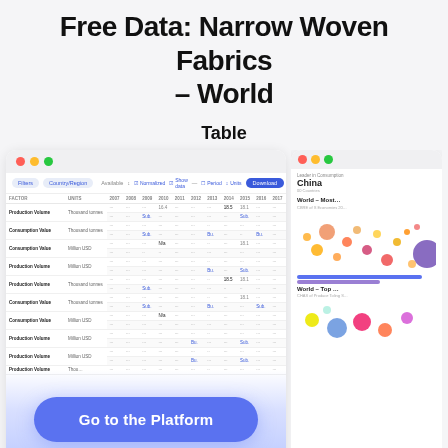Free Data: Narrow Woven Fabrics – World
Table
[Figure (screenshot): Screenshot of a data platform table showing narrow woven fabrics world data with rows for Production Volume, Consumption Value, Production Volume etc. with columns for years and data values shown as dots/numbers. A blue 'Go to the Platform' CTA button overlays the bottom.]
[Figure (screenshot): Right panel showing a world data card with 'Leader in Consumption: China, 00 Countries' label and bubble chart for 'World – Most...' and a bar chart section for 'World – Top...' with colored bubbles and bars.]